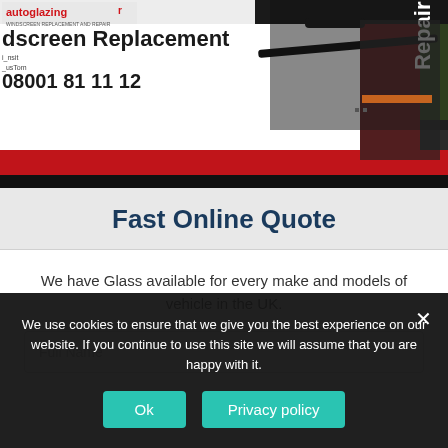[Figure (photo): Autoglazing van/vehicle with text: autoglazing, WINDSCREEN REPLACEMENT AND REPAIR, dscreen Replacement, 08001811 12, with Repair signage. A person in dark clothing is visible working near a car.]
Fast Online Quote
We have Glass available for every make and models of vehicle in the UK.
Full Name
We use cookies to ensure that we give you the best experience on our website. If you continue to use this site we will assume that you are happy with it.